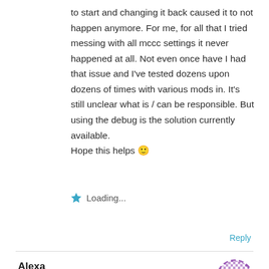to start and changing it back caused it to not happen anymore. For me, for all that I tried messing with all mccc settings it never happened at all. Not even once have I had that issue and I've tested dozens upon dozens of times with various mods in. It's still unclear what is / can be responsible. But using the debug is the solution currently available.
Hope this helps 🙂
Loading...
Reply
Alexa
May 10, 2021 at 1:28 am
My family had their baby through surrogacy but when i